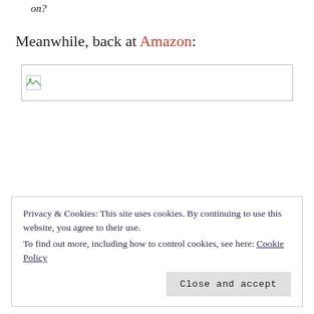on?
Meanwhile, back at Amazon:
[Figure (other): Broken/missing image placeholder — a rectangular image container with a small broken image icon in the top-left corner]
Privacy & Cookies: This site uses cookies. By continuing to use this website, you agree to their use.
To find out more, including how to control cookies, see here: Cookie Policy
Close and accept